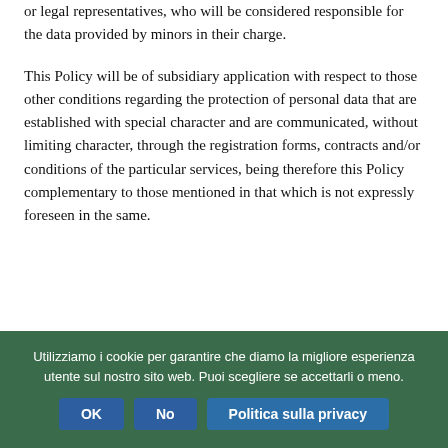or legal representatives, who will be considered responsible for the data provided by minors in their charge.
This Policy will be of subsidiary application with respect to those other conditions regarding the protection of personal data that are established with special character and are communicated, without limiting character, through the registration forms, contracts and/or conditions of the particular services, being therefore this Policy complementary to those mentioned in that which is not expressly foreseen in the same.
Utilizziamo i cookie per garantire che diamo la migliore esperienza utente sul nostro sito web. Puoi scegliere se accettarli o meno.